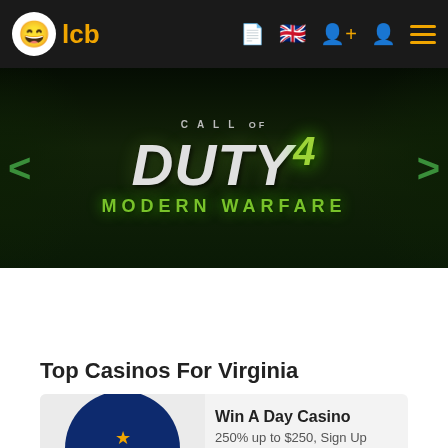lcb — navigation bar with logo, language selector, and menu icons
[Figure (screenshot): Call of Duty 4: Modern Warfare game banner with dark forest background, white stylized title text and green 'MODERN WARFARE' subtitle, with green left/right navigation arrows on either side]
Top Casinos For Virginia
[Figure (logo): Win A Day Casino logo — dark blue circle with golden star emblem and WINADAY text]
Win A Day Casino
250% up to $250, Sign Up
We are online!